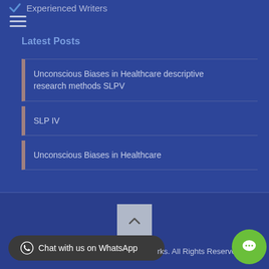Experienced Writers
Latest Posts
Unconscious Biases in Healthcare descriptive research methods SLPV
SLP IV
Unconscious Biases in Healthcare
Chat with us on WhatsApp   rks. All Rights Reserved